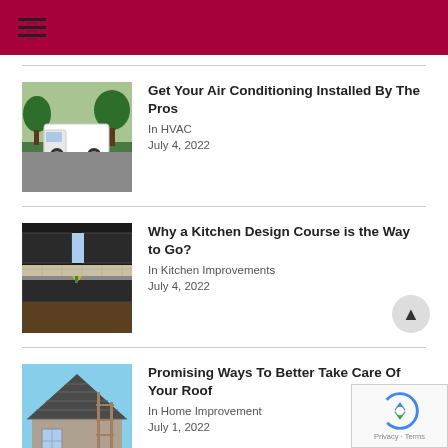Navigation menu
[Figure (photo): White van parked outside a house with trees in background - HVAC service vehicle]
Get Your Air Conditioning Installed By The Pros
In HVAC
July 4, 2022
[Figure (photo): Modern kitchen interior with dark cabinets and countertops, yellow flowers on counter]
Why a Kitchen Design Course is the Way to Go?
In Kitchen Improvements
July 4, 2022
[Figure (photo): Roof of a house under construction or repair, with shingles and scaffolding, blue sky]
Promising Ways To Better Take Care Of Your Roof
In Home Improvement
July 1, 2022